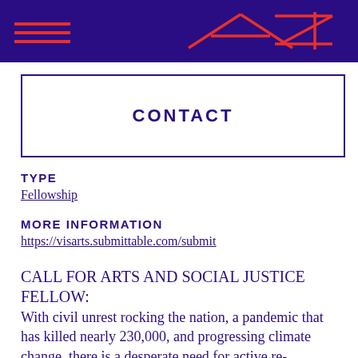[Figure (logo): Dark purple header bar with red hamburger menu icon on left and red geometric AA+ logo on right]
CONTACT
TYPE
Fellowship
MORE INFORMATION
https://visarts.submittable.com/submit
CALL FOR ARTS AND SOCIAL JUSTICE FELLOW:
With civil unrest rocking the nation, a pandemic that has killed nearly 230,000, and progressing climate change, there is a desperate need for active re-imaginings of the future and immediate engagement with the invisibilities of the present.